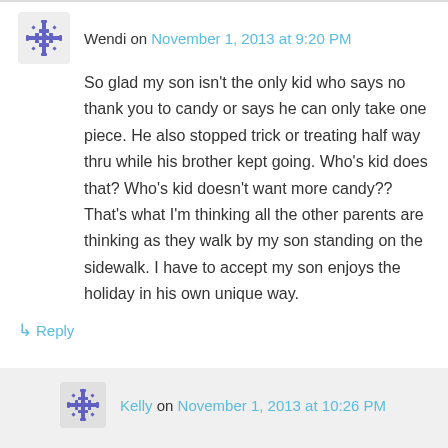Wendi on November 1, 2013 at 9:20 PM
So glad my son isn't the only kid who says no thank you to candy or says he can only take one piece. He also stopped trick or treating half way thru while his brother kept going. Who's kid does that? Who's kid doesn't want more candy?? That's what I'm thinking all the other parents are thinking as they walk by my son standing on the sidewalk. I have to accept my son enjoys the holiday in his own unique way.
↳ Reply
Kelly on November 1, 2013 at 10:26 PM